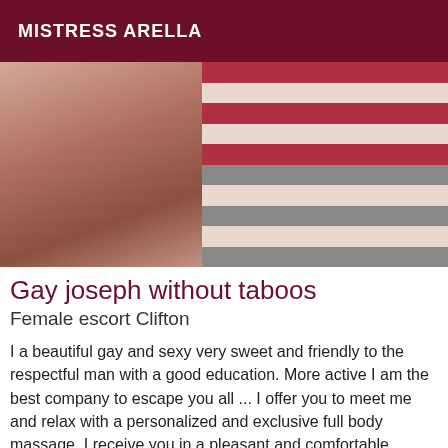MISTRESS ARELLA
[Figure (photo): Photo of a man lying down, shirtless, with a striped red, white, and gray background.]
Gay joseph without taboos
Female escort Clifton
I a beautiful gay and sexy very sweet and friendly to the respectful man with a good education. More active I am the best company to escape you all ... I offer you to meet me and relax with a personalized and exclusive full body massage. I receive you in a pleasant and comfortable